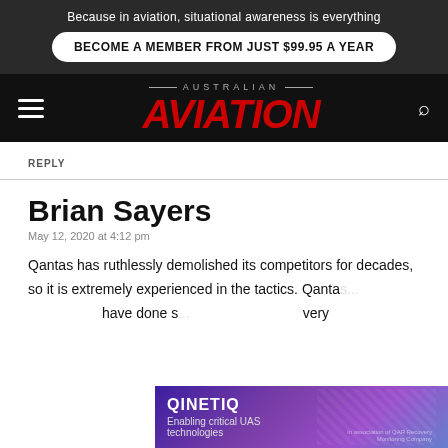Because in aviation, situational awareness is everything
BECOME A MEMBER FROM JUST $99.95 A YEAR
AUSTRALIAN AVIATION
REPLY
Brian Sayers
May 12, 2020 at 4:12 pm
Qantas has ruthlessly demolished its competitors for decades, so it is extremely experienced in the tactics. Qanta... have done s... very
[Figure (screenshot): QinetiQ advertisement banner: 'QINETIQ - Enabling critical UAS technologies' with imagery of drones/vehicles on right side, purple/blue gradient background]